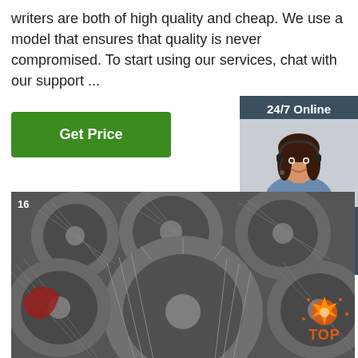writers are both of high quality and cheap. We use a model that ensures that quality is never compromised. To start using our services, chat with our support ...
Get Price
24/7 Online
[Figure (photo): Customer service agent with headset, smiling]
Click here for free chat !
QUOTATION
[Figure (photo): Large spools of steel wire rod coils stacked in a warehouse]
TOP